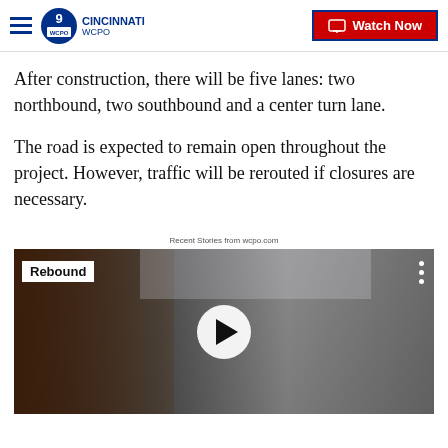WCPO 9 CINCINNATI — Watch Now
After construction, there will be five lanes: two northbound, two southbound and a center turn lane.
The road is expected to remain open throughout the project. However, traffic will be rerouted if closures are necessary.
Recent Stories from wcpo.com
[Figure (screenshot): Video thumbnail showing a store interior with a 'Rebound' badge label in the upper left and a circular play button centered on the image. Three vertical dots appear in the upper right.]